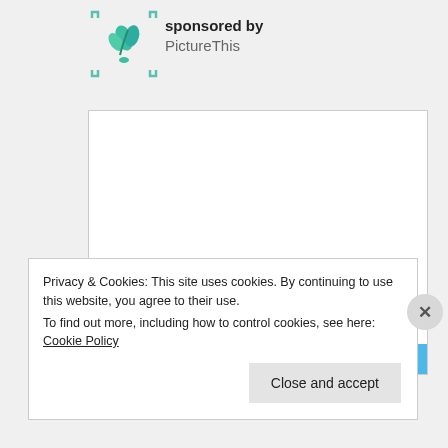[Figure (logo): PictureThis app logo: teal plant/flower icon inside corner bracket frame]
sponsored by
PictureThis
[Figure (photo): Large white/blank advertisement area with a blue strip at bottom reading BROWSING]
Privacy & Cookies: This site uses cookies. By continuing to use this website, you agree to their use.
To find out more, including how to control cookies, see here: Cookie Policy
Close and accept